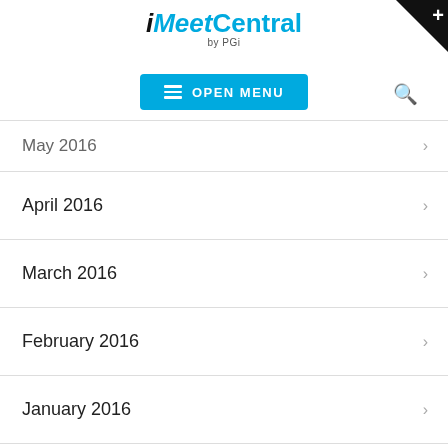[Figure (logo): iMeet Central by PGi logo — 'iMeet' in blue italic, 'Central' in blue, 'by PGi' below in gray]
[Figure (screenshot): Blue 'OPEN MENU' button with hamburger icon on left]
May 2016
April 2016
March 2016
February 2016
January 2016
December 2015
November 2015
October 2015